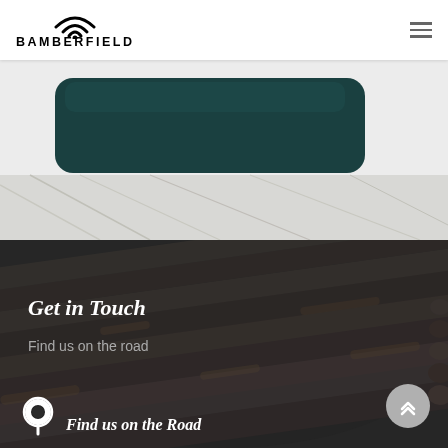[Figure (logo): Bamberfield logo with WiFi signal icon above text in bold caps]
[Figure (photo): Dark section with rusty steel rebar rods background, showing 'Get in Touch' heading and 'Find us on the road' subheading with location icon and 'Find us on the Road' text at bottom]